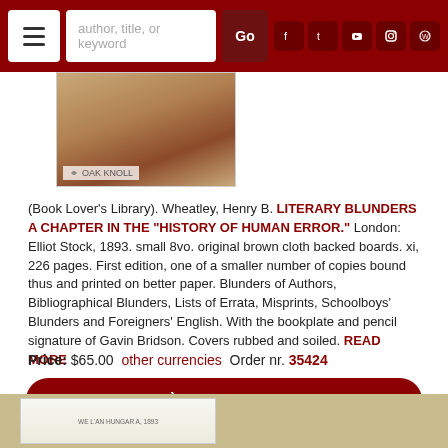[Figure (screenshot): Website navigation bar with hamburger menu, search box, Go button, and social media icons on dark red background]
[Figure (photo): Book cover photo showing worn brown cloth backed boards with Oak Knoll watermark]
(Book Lover's Library). Wheatley, Henry B. LITERARY BLUNDERS A CHAPTER IN THE "HISTORY OF HUMAN ERROR." London: Elliot Stock, 1893. small 8vo. original brown cloth backed boards. xi, 226 pages. First edition, one of a smaller number of copies bound thus and printed on better paper. Blunders of Authors, Bibliographical Blunders, Lists of Errata, Misprints, Schoolboys' Blunders and Foreigners' English. With the bookplate and pencil signature of Gavin Bridson. Covers rubbed and soiled. READ MORE
Price: $65.00  other currencies  Order nr. 35424
Add to Cart
[Figure (photo): Partial view of another book at the bottom of the page on a tan/khaki background]